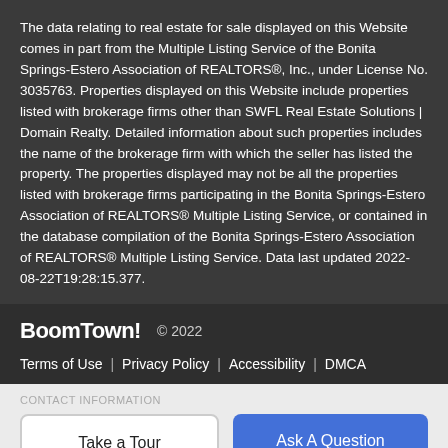The data relating to real estate for sale displayed on this Website comes in part from the Multiple Listing Service of the Bonita Springs-Estero Association of REALTORS®, Inc., under License No. 3035763. Properties displayed on this Website include properties listed with brokerage firms other than SWFL Real Estate Solutions | Domain Realty. Detailed information about such properties includes the name of the brokerage firm with which the seller has listed the property. The properties displayed may not be all the properties listed with brokerage firms participating in the Bonita Springs-Estero Association of REALTORS® Multiple Listing Service, or contained in the database compilation of the Bonita Springs-Estero Association of REALTORS® Multiple Listing Service. Data last updated 2022-08-22T19:28:15.377.
BoomTown! © 2022  Terms of Use | Privacy Policy | Accessibility | DMCA
Take a Tour   Ask A Question